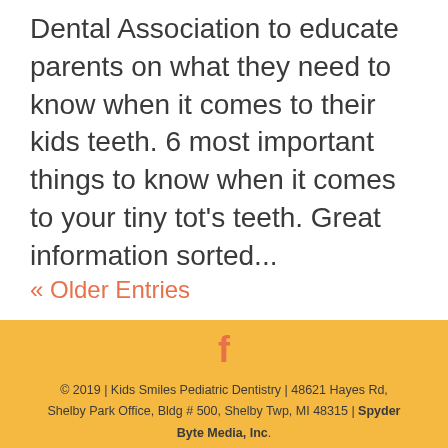Dental Association to educate parents on what they need to know when it comes to their kids teeth. 6 most important things to know when it comes to your tiny tot's teeth. Great information sorted...
« Older Entries
© 2019 | Kids Smiles Pediatric Dentistry | 48621 Hayes Rd, Shelby Park Office, Bldg # 500, Shelby Twp, MI 48315 | Spyder Byte Media, Inc.